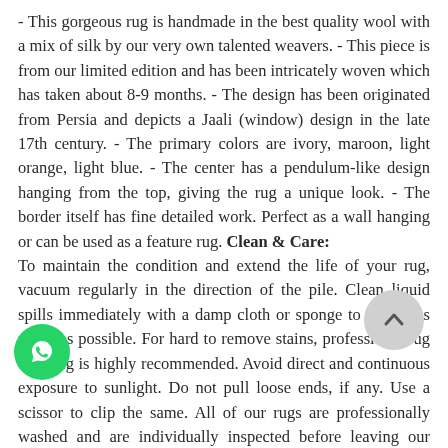- This gorgeous rug is handmade in the best quality wool with a mix of silk by our very own talented weavers. - This piece is from our limited edition and has been intricately woven which has taken about 8-9 months. - The design has been originated from Persia and depicts a Jaali (window) design in the late 17th century. - The primary colors are ivory, maroon, light orange, light blue. - The center has a pendulum-like design hanging from the top, giving the rug a unique look. - The border itself has fine detailed work. Perfect as a wall hanging or can be used as a feature rug. Clean & Care: To maintain the condition and extend the life of your rug, vacuum regularly in the direction of the pile. Clean liquid spills immediately with a damp cloth or sponge to absorb as much as possible. For hard to remove stains, professional rug cleaning is highly recommended. Avoid direct and continuous exposure to sunlight. Do not pull loose ends, if any. Use a scissor to clip the same. All of our rugs are professionally washed and are individually inspected before leaving our warehouse. This rug is
[Figure (other): WhatsApp contact button (green circle with phone icon) overlaying the text at the bottom left]
[Figure (other): Scroll-to-top button (grey circle with upward chevron) overlaying the text at the bottom right]